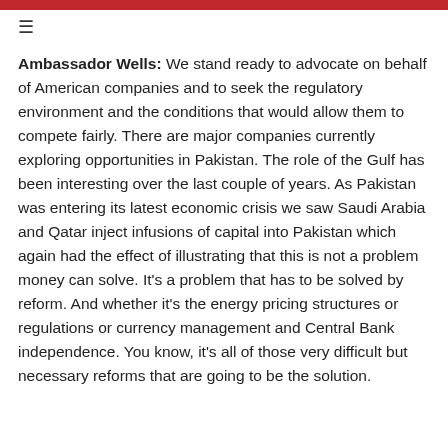Ambassador Wells:  We stand ready to advocate on behalf of American companies and to seek the regulatory environment and the conditions that would allow them to compete fairly.  There are major companies currently exploring opportunities in Pakistan.  The role of the Gulf has been interesting over the last couple of years.  As Pakistan was entering its latest economic crisis we saw Saudi Arabia and Qatar inject infusions of capital into Pakistan which again had the effect of illustrating that this is not a problem money can solve.  It's a problem that has to be solved by reform.  And whether it's the energy pricing structures or regulations or currency management and Central Bank independence.  You know, it's all of those very difficult but necessary reforms that are going to be the solution.